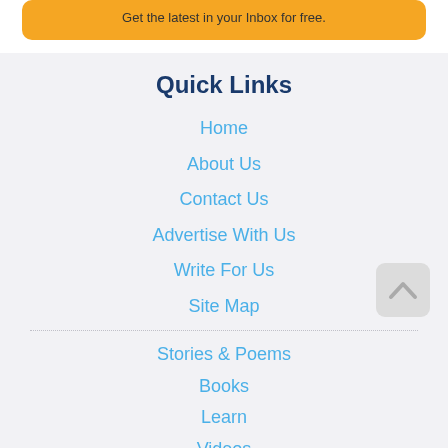Get the latest in your Inbox for free.
Quick Links
Home
About Us
Contact Us
Advertise With Us
Write For Us
Site Map
Stories & Poems
Books
Learn
Videos
Games